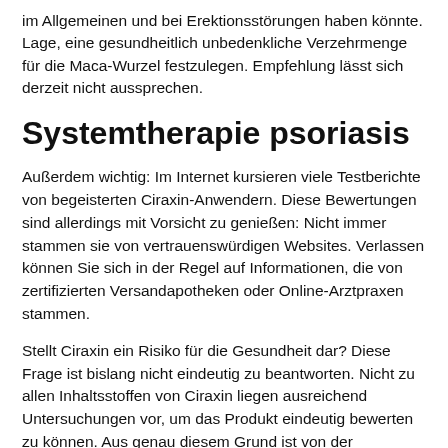im Allgemeinen und bei Erektionsstörungen haben könnte. Lage, eine gesundheitlich unbedenkliche Verzehrmenge für die Maca-Wurzel festzulegen. Empfehlung lässt sich derzeit nicht aussprechen.
Systemtherapie psoriasis
Außerdem wichtig: Im Internet kursieren viele Testberichte von begeisterten Ciraxin-Anwendern. Diese Bewertungen sind allerdings mit Vorsicht zu genießen: Nicht immer stammen sie von vertrauenswürdigen Websites. Verlassen können Sie sich in der Regel auf Informationen, die von zertifizierten Versandapotheken oder Online-Arztpraxen stammen.
Stellt Ciraxin ein Risiko für die Gesundheit dar? Diese Frage ist bislang nicht eindeutig zu beantworten. Nicht zu allen Inhaltsstoffen von Ciraxin liegen ausreichend Untersuchungen vor, um das Produkt eindeutig bewerten zu können. Aus genau diesem Grund ist von der Einnahme abzuraten. Außerdem wichtig zu wissen: Sollte Ciraxin von einem Hersteller außerhalb der Europäischen Union stammen, ist dieser nicht an die europäischen Qualitätsstandards gebunden. Das kann bedeuten, dass das Produkt Verunreinigungen oder auch nicht angegebene Inhaltsstoffe aufweist. Auch die Einschätzung von